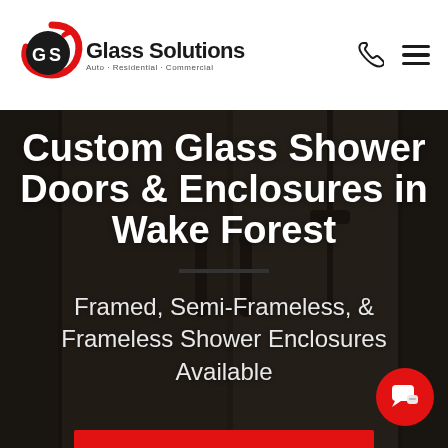[Figure (logo): Glass Solutions logo with GS emblem and text: Auto · Residential · Commercial]
Custom Glass Shower Doors & Enclosures in Wake Forest
Framed, Semi-Frameless, & Frameless Shower Enclosures Available